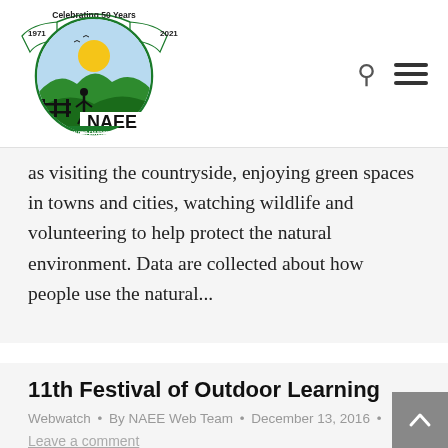[Figure (logo): NAEE (National Association for Environmental Education UK) logo with '1971 Celebrating 50 Years 2021' banner. Registered charity no. 1166502]
as visiting the countryside, enjoying green spaces in towns and cities, watching wildlife and volunteering to help protect the natural environment. Data are collected about how people use the natural...
11th Festival of Outdoor Learning
Webwatch • By NAEE Web Team • December 13, 2016 •
Leave a comment